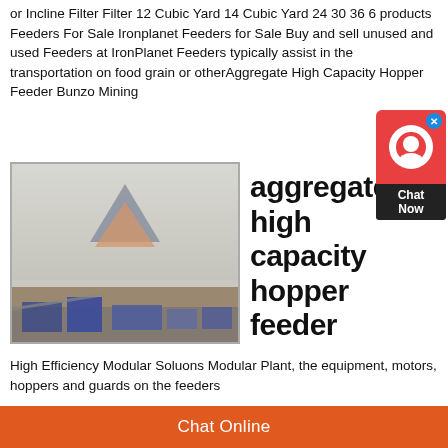or Incline Filter Filter 12 Cubic Yard 14 Cubic Yard 24 30 36 6 products Feeders For Sale Ironplanet Feeders for Sale Buy and sell unused and used Feeders at IronPlanet Feeders typically assist in the transportation on food grain or otherAggregate High Capacity Hopper Feeder Bunzo Mining
[Figure (photo): Photo of an aggregate mining plant with conveyor belts and hoppers on a dusty outdoor site, with a Bunzo Mining logo (triangle/pyramid shapes) overlaid]
aggregate high capacity hopper feeder
High Efficiency Modular Soluons Modular Plant, the equipment, motors, hoppers and guards on the feeders
Chat Online